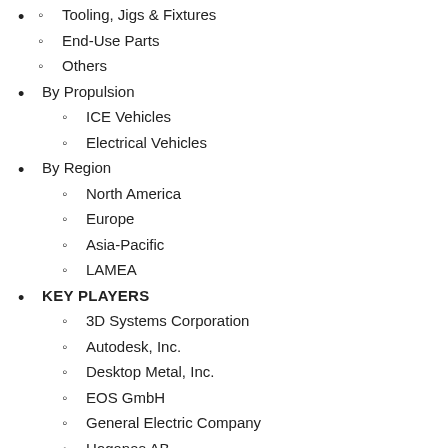Tooling, Jigs & Fixtures
End-Use Parts
Others
By Propulsion
ICE Vehicles
Electrical Vehicles
By Region
North America
Europe
Asia-Pacific
LAMEA
KEY PLAYERS
3D Systems Corporation
Autodesk, Inc.
Desktop Metal, Inc.
EOS GmbH
General Electric Company
Hoganas AB
Materialise NV